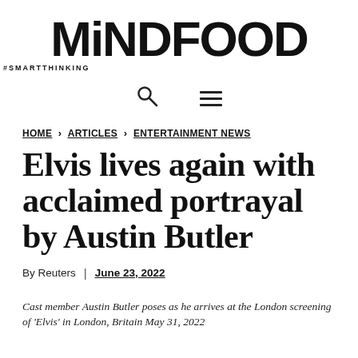MiNDFOOD #SMARTTHINKING
[Figure (logo): MiNDFOOD logo with tagline #SMARTTHINKING]
HOME > ARTICLES > ENTERTAINMENT NEWS
Elvis lives again with acclaimed portrayal by Austin Butler
By Reuters | June 23, 2022
Cast member Austin Butler poses as he arrives at the London screening of 'Elvis' in London, Britain May 31, 2022